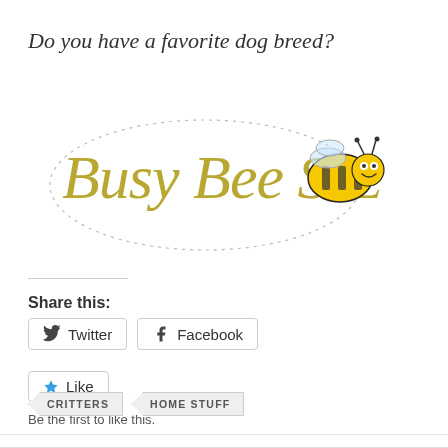Do you have a favorite dog breed?
[Figure (logo): Busy Bee Suz blog logo with cursive yellow/gold text and a cartoon bee illustration with dotted flight path]
Share this:
[Figure (infographic): Twitter and Facebook share buttons with icons]
[Figure (infographic): Like button with star icon and text 'Be the first to like this.']
Be the first to like this.
CRITTERS
HOME STUFF